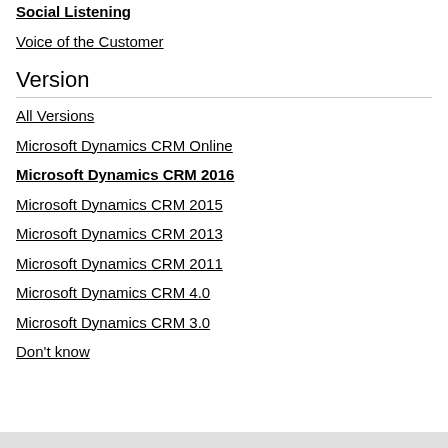Social Listening
Voice of the Customer
Version
All Versions
Microsoft Dynamics CRM Online
Microsoft Dynamics CRM 2016
Microsoft Dynamics CRM 2015
Microsoft Dynamics CRM 2013
Microsoft Dynamics CRM 2011
Microsoft Dynamics CRM 4.0
Microsoft Dynamics CRM 3.0
Don't know